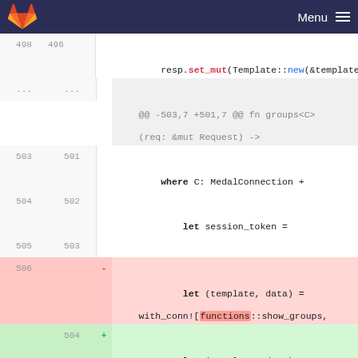Menu ☰
[Figure (screenshot): Code diff view showing Rust source code changes. Lines 498-509 old, 496-507 new. A diff replacing 'functions' with 'core' in a with_conn! macro call inside a groups function.]